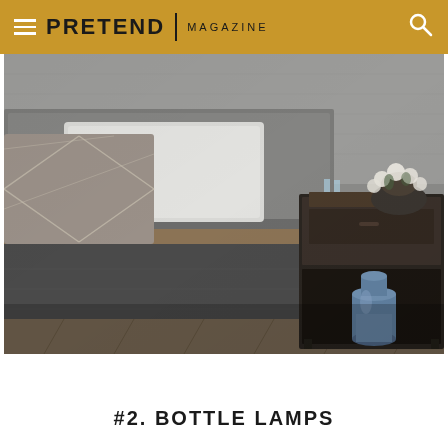PRETEND | MAGAZINE
[Figure (photo): Interior bedroom photo showing a dark upholstered bed with geometric patterned pillows and a dark wood nightstand with a blue ceramic bottle/vase on the lower shelf and flowers on top.]
#2. BOTTLE LAMPS